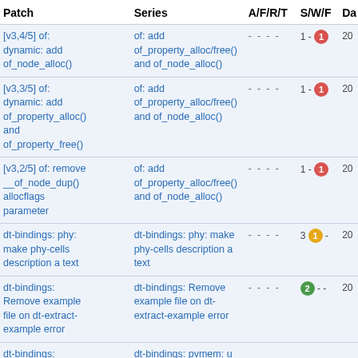| Patch | Series | A/F/R/T | S/W/F | Da |
| --- | --- | --- | --- | --- |
| [v3,4/5] of: dynamic: add of_node_alloc() | of: add of_property_alloc/free() and of_node_alloc() | - - - - | 1 - 1 | 20 |
| [v3,3/5] of: dynamic: add of_property_alloc() and of_property_free() | of: add of_property_alloc/free() and of_node_alloc() | - - - - | 1 - 1 | 20 |
| [v3,2/5] of: remove __of_node_dup() allocflags parameter | of: add of_property_alloc/free() and of_node_alloc() | - - - - | 1 - 1 | 20 |
| dt-bindings: phy: make phy-cells description a text | dt-bindings: phy: make phy-cells description a text | - - - - | 3 1 - | 20 |
| dt-bindings: Remove example file on dt-extract-example error | dt-bindings: Remove example file on dt-extract-example error | - - - - | 2 - - | 20 |
| dt-bindings: | dt-bindings: pvmem: u | - - - - |  |  |